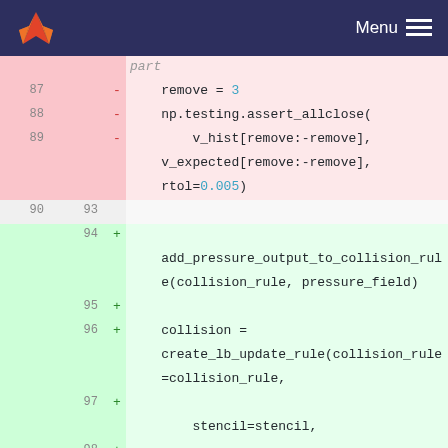Menu
part
87  - remove = 3
88  - np.testing.assert_allclose(
89  - v_hist[remove:-remove],
    v_expected[remove:-remove],
    rtol=0.005)
90 93
   94 + add_pressure_output_to_collision_rule(collision_rule, pressure_field)
   95 +
   96 + collision = create_lb_update_rule(collision_rule=collision_rule,
   97 + stencil=stencil,
   98 + method=method,
   99 + compressible=True,